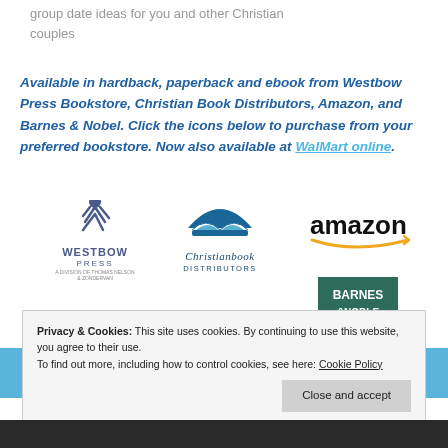group date ideas for you and other Christian couples
Available in hardback, paperback and ebook from Westbow Press Bookstore, Christian Book Distributors, Amazon, and Barnes & Nobel. Click the icons below to purchase from your preferred bookstore. Now also available at WalMart online.
[Figure (logo): WestBow Press logo]
[Figure (logo): Christianbook Distributors logo]
[Figure (logo): Amazon logo]
[Figure (logo): Barnes & Noble logo]
Privacy & Cookies: This site uses cookies. By continuing to use this website, you agree to their use. To find out more, including how to control cookies, see here: Cookie Policy
Close and accept